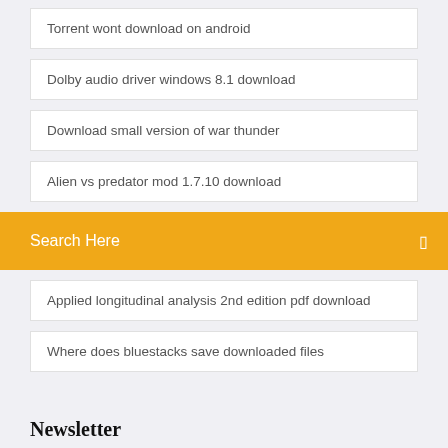Torrent wont download on android
Dolby audio driver windows 8.1 download
Download small version of war thunder
Alien vs predator mod 1.7.10 download
Search Here
Applied longitudinal analysis 2nd edition pdf download
Where does bluestacks save downloaded files
Newsletter